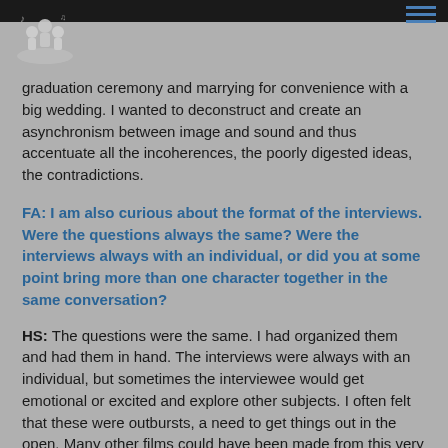graduation ceremony and marrying for convenience with a big wedding. I wanted to deconstruct and create an asynchronism between image and sound and thus accentuate all the incoherences, the poorly digested ideas, the contradictions.
FA: I am also curious about the format of the interviews. Were the questions always the same? Were the interviews always with an individual, or did you at some point bring more than one character together in the same conversation?
HS: The questions were the same. I had organized them and had them in hand. The interviews were always with an individual, but sometimes the interviewee would get emotional or excited and explore other subjects. I often felt that these were outbursts, a need to get things out in the open. Many other films could have been made from this very rich material!